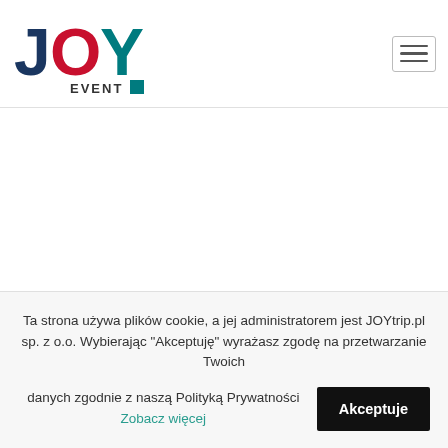JOY EVENT logo and navigation hamburger menu
KINDS OF GAMES:
Ta strona używa plików cookie, a jej administratorem jest JOYtrip.pl sp. z o.o. Wybierając "Akceptuję" wyrażasz zgodę na przetwarzanie Twoich danych zgodnie z naszą Polityką Prywatności Zobacz więcej  Akceptuje